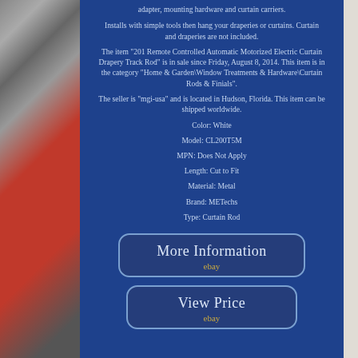adapter, mounting hardware and curtain carriers.
Installs with simple tools then hang your draperies or curtains. Curtain and draperies are not included.
The item "201 Remote Controlled Automatic Motorized Electric Curtain Drapery Track Rod" is in sale since Friday, August 8, 2014. This item is in the category "Home & Garden\Window Treatments & Hardware\Curtain Rods & Finials".
The seller is "mgi-usa" and is located in Hudson, Florida. This item can be shipped worldwide.
Color: White
Model: CL200T5M
MPN: Does Not Apply
Length: Cut to Fit
Material: Metal
Brand: METechs
Type: Curtain Rod
[Figure (screenshot): More Information button with eBay logo]
[Figure (screenshot): View Price button with eBay logo]